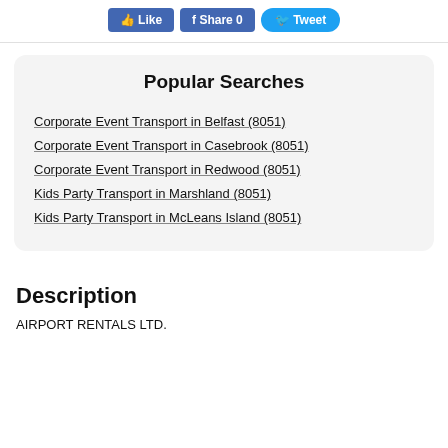[Figure (other): Social sharing buttons: Like, Share 0, Tweet]
Popular Searches
Corporate Event Transport in Belfast (8051)
Corporate Event Transport in Casebrook (8051)
Corporate Event Transport in Redwood (8051)
Kids Party Transport in Marshland (8051)
Kids Party Transport in McLeans Island (8051)
Description
AIRPORT RENTALS LTD.